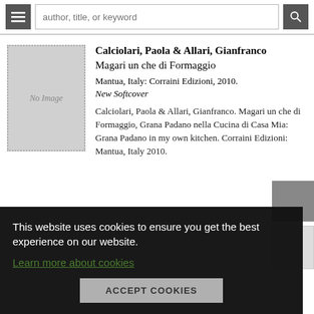author, title, or keyword
[Figure (photo): Book cover placeholder showing 'No Image' text in grey rectangle with dotted border]
Calciolari, Paola & Allari, Gianfranco
Magari un che di Formaggio
Mantua, Italy: Corraini Edizioni, 2010.
New Softcover
Calciolari, Paola & Allari, Gianfranco. Magari un che di Formaggio, Grana Padano nella Cucina di Casa Mia: Grana Padano in my own kitchen. Corraini Edizioni: Mantua, Italy 2010.
This website uses cookies to ensure you get the best experience on our website.
Learn more about cookies
ACCEPT COOKIES